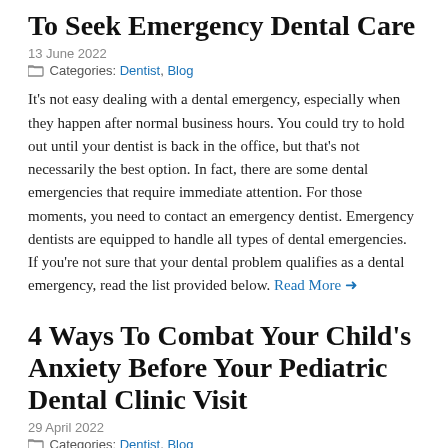To Seek Emergency Dental Care
13 June 2022
Categories: Dentist, Blog
It's not easy dealing with a dental emergency, especially when they happen after normal business hours. You could try to hold out until your dentist is back in the office, but that's not necessarily the best option. In fact, there are some dental emergencies that require immediate attention. For those moments, you need to contact an emergency dentist. Emergency dentists are equipped to handle all types of dental emergencies. If you're not sure that your dental problem qualifies as a dental emergency, read the list provided below. Read More →
4 Ways To Combat Your Child's Anxiety Before Your Pediatric Dental Clinic Visit
29 April 2022
Categories: Dentist, Blog